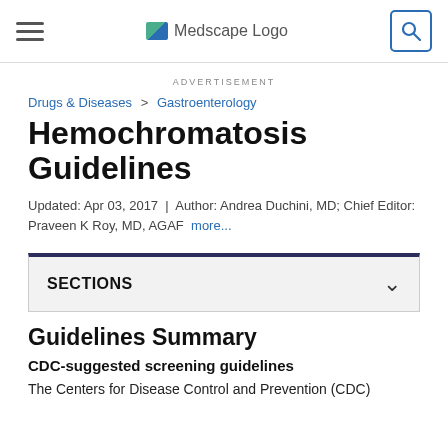Medscape Logo [navigation bar with hamburger menu and search]
ADVERTISEMENT
Drugs & Diseases > Gastroenterology
Hemochromatosis Guidelines
Updated: Apr 03, 2017 | Author: Andrea Duchini, MD; Chief Editor: Praveen K Roy, MD, AGAF more...
SECTIONS
Guidelines Summary
CDC-suggested screening guidelines
The Centers for Disease Control and Prevention (CDC)